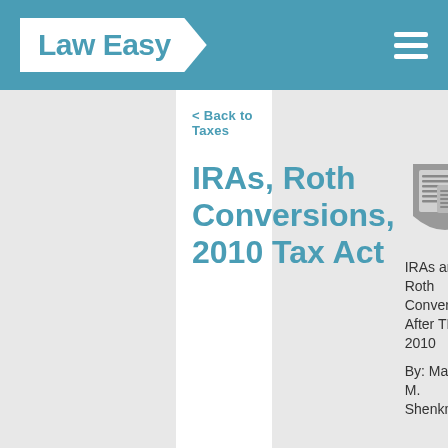Law Easy
< Back to Taxes
IRAs, Roth Conversions, 2010 Tax Act
[Figure (illustration): Shield-shaped icon with document/newspaper graphic inside, gray color]
IRAs and Roth Conversions After TRA 2010
By: Martin M. Shenkman